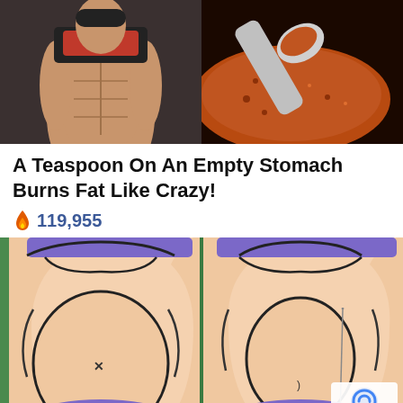[Figure (photo): Split image: left side shows muscular torso of a person at a gym lifting shirt to reveal abs; right side shows a metal spoon full of orange-red spice powder on a dark background]
A Teaspoon On An Empty Stomach Burns Fat Like Crazy!
🔥 119,955
[Figure (illustration): Cartoon illustration comparing two female torsos side by side: left showing overweight belly, right showing slimmer belly with acupuncture needle, both wearing purple bikinis on green background]
Privacy · Terms